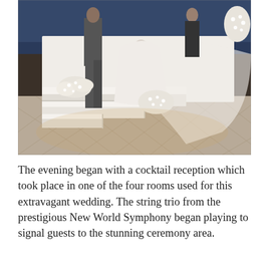[Figure (photo): Wedding ceremony photo showing a bride in a white gown with a long veil standing on white stepped platform/altar, with groom and officiant visible, white floral arrangements of baby's breath on the steps, warm ambient lighting, decorative tiled floor visible below.]
The evening began with a cocktail reception which took place in one of the four rooms used for this extravagant wedding. The string trio from the prestigious New World Symphony began playing to signal guests to the stunning ceremony area.